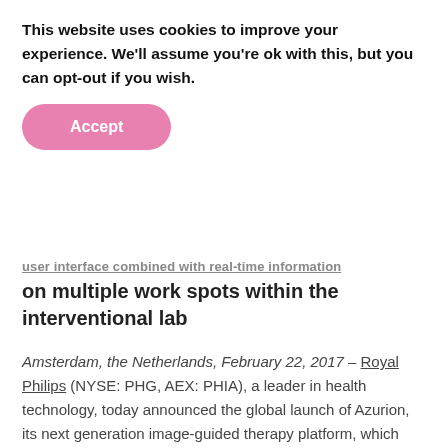This website uses cookies to improve your experience. We'll assume you're ok with this, but you can opt-out if you wish.
Accept
user interface combined with real-time information on multiple work spots within the interventional lab
Amsterdam, the Netherlands, February 22, 2017 – Royal Philips (NYSE: PHG, AEX: PHIA), a leader in health technology, today announced the global launch of Azurion, its next generation image-guided therapy platform, which forms the new core of its integrated solutions portfolio for the fast growing image-guided therapy market. As a leader in this market, Philips offers integrated solutions comprising interventional imaging technologies and planning and navigation software combined with interventional devices – including catheters for diagnosis and therapy – and a broad